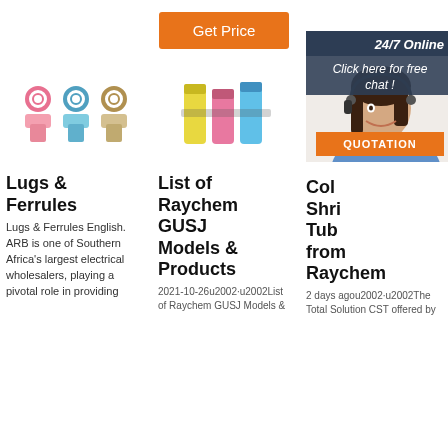[Figure (other): Orange 'Get Price' button]
[Figure (photo): Three ring terminal lugs in pink, blue, and red/beige colors]
[Figure (photo): Colorful heat shrink tubes in yellow, blue, pink]
[Figure (photo): Red cable with fork terminal connector]
[Figure (infographic): 24/7 Online chat widget with female agent, 'Click here for free chat!' and QUOTATION button, plus TOP badge]
Lugs & Ferrules
List of Raychem GUSJ Models & Products
Color Shrink Tubing from Raychem
Lugs & Ferrules English. ARB is one of Southern Africa's largest electrical wholesalers, playing a pivotal role in providing
2021-10-26u2002·u2002List of Raychem GUSJ Models &
2 days agou2002·u2002The Total Solution CST offered by